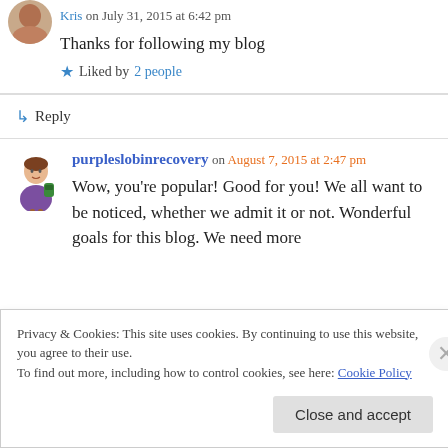Thanks for following my blog
★ Liked by 2 people
↵ Reply
purpleslobinrecovery on August 7, 2015 at 2:47 pm
Wow, you're popular! Good for you! We all want to be noticed, whether we admit it or not. Wonderful goals for this blog. We need more
Privacy & Cookies: This site uses cookies. By continuing to use this website, you agree to their use. To find out more, including how to control cookies, see here: Cookie Policy
Close and accept